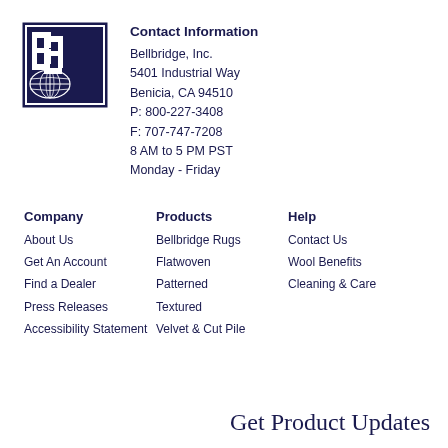[Figure (logo): Bellbridge Inc. logo: dark navy square with stylized B letters and globe graphic]
Contact Information
Bellbridge, Inc.
5401 Industrial Way
Benicia, CA 94510
P: 800-227-3408
F: 707-747-7208
8 AM to 5 PM PST
Monday - Friday
Company
About Us
Get An Account
Find a Dealer
Press Releases
Accessibility Statement
Products
Bellbridge Rugs
Flatwoven
Patterned
Textured
Velvet & Cut Pile
Help
Contact Us
Wool Benefits
Cleaning & Care
Get Product Updates